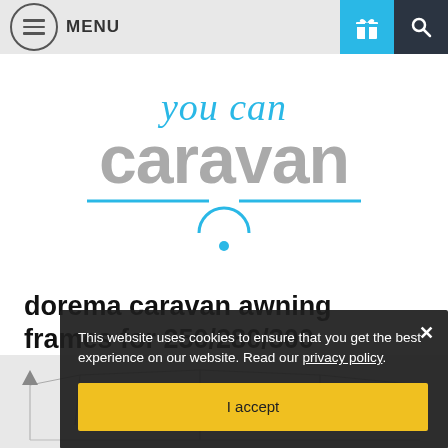MENU
[Figure (logo): You Can Caravan logo — script 'you can' in blue above large grey 'caravan' text, with a blue horizontal line and arc/dot emblem beneath]
dorema caravan awning frames for 250/280/300 president & 270 emerald awning
This website uses cookies to ensure that you get the best experience on our website. Read our privacy policy.
I accept